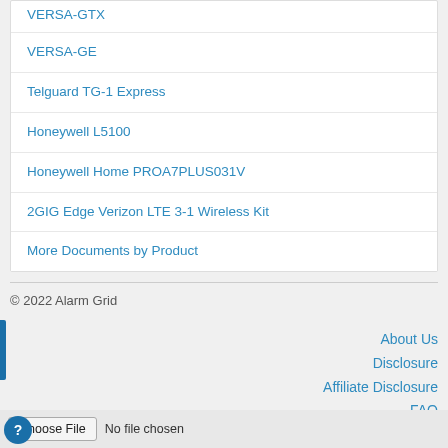VERSA-GTX
VERSA-GE
Telguard TG-1 Express
Honeywell L5100
Honeywell Home PROA7PLUS031V
2GIG Edge Verizon LTE 3-1 Wireless Kit
More Documents by Product
© 2022 Alarm Grid
About Us
Disclosure
Affiliate Disclosure
FAQ
Product Manuals
Videos
Choose File  No file chosen